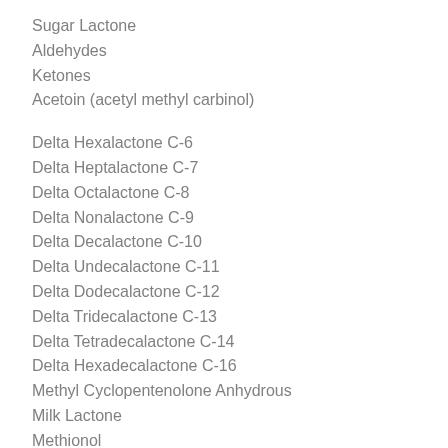Sugar Lactone
Aldehydes
Ketones
Acetoin (acetyl methyl carbinol)
Delta Hexalactone C-6
Delta Heptalactone C-7
Delta Octalactone C-8
Delta Nonalactone C-9
Delta Decalactone C-10
Delta Undecalactone C-11
Delta Dodecalactone C-12
Delta Tridecalactone C-13
Delta Tetradecalactone C-14
Delta Hexadecalactone C-16
Methyl Cyclopentenolone Anhydrous
Milk Lactone
Methionol